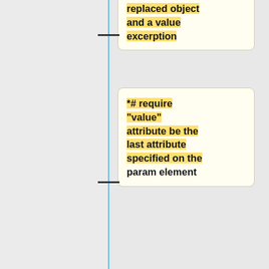replaced object and a value excerption
*# require "value" attribute be the last attribute specified on the param element
*# require equivalent human visible text be placed immediately (allowing for whitespace) following the param
==== criticisms ====